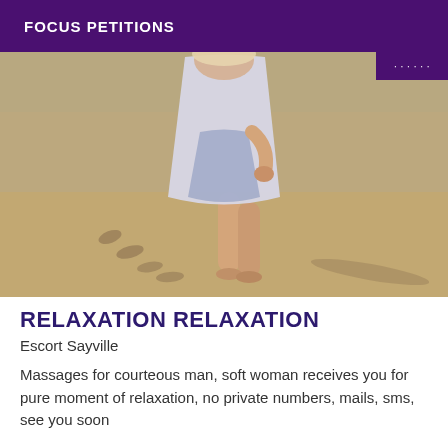FOCUS PETITIONS
[Figure (photo): Woman in a light blue/white dress walking barefoot on a sandy beach, footprints visible in the sand. A purple badge is visible in the top-right corner of the image.]
RELAXATION RELAXATION
Escort Sayville
Massages for courteous man, soft woman receives you for pure moment of relaxation, no private numbers, mails, sms, see you soon